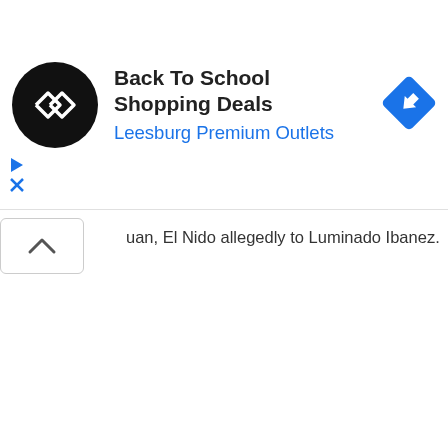[Figure (screenshot): Advertisement banner for 'Back To School Shopping Deals' at Leesburg Premium Outlets. Features a circular black logo with a double-arrow symbol on the left, text in the center, and a blue diamond-shaped navigation icon on the right.]
uan, El Nido allegedly to Luminado Ibanez.